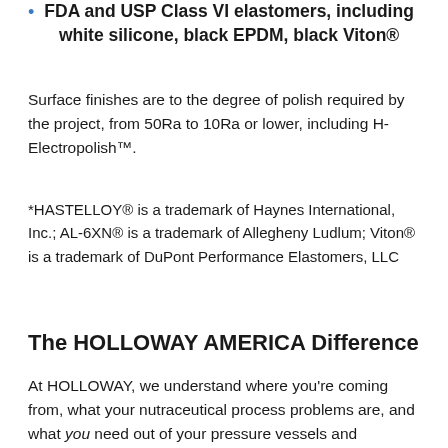FDA and USP Class VI elastomers, including white silicone, black EPDM, black Viton®
Surface finishes are to the degree of polish required by the project, from 50Ra to 10Ra or lower, including H-Electropolish™.
*HASTELLOY® is a trademark of Haynes International, Inc.; AL-6XN® is a trademark of Allegheny Ludlum; Viton® is a trademark of DuPont Performance Elastomers, LLC
The HOLLOWAY AMERICA Difference
At HOLLOWAY, we understand where you're coming from, what your nutraceutical process problems are, and what you need out of your pressure vessels and